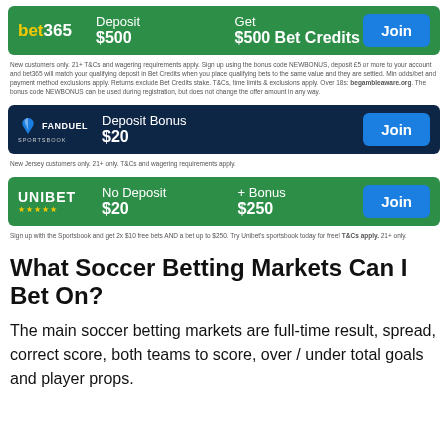[Figure (infographic): bet365 promotional banner: Deposit $500, Get $500 Bet Credits, Join button]
New customers only. 21+ T&Cs and wagering requirements apply. Sign up using the bonus code NEWBONUS, deposit £5 or more to your account and bet365 will match your qualifying deposit in Bet Credits when you place qualifying bets to the same value and they are settled. Min odds/bet and payment method exclusions apply. Returns exclude Bet Credits stake. T&Cs, time limits & exclusions apply. Over 18s: begambleaware.org. The bonus code NEWBONUS can be used during registration, but does not change the offer amount in any way.
[Figure (infographic): FanDuel Sportsbook promotional banner: Deposit Bonus $20, Join button]
New Jersey customers only. 21+ only. T&Cs and wagering requirements apply.
[Figure (infographic): Unibet promotional banner: No Deposit $20 + Bonus $250, Join button]
Sign up with the Sportsbook and get 2x $10 free bets AND a bet up to $250. Try Unibet's sportsbook today for free! T&Cs apply. 21+ only.
What Soccer Betting Markets Can I Bet On?
The main soccer betting markets are full-time result, spread, correct score, both teams to score, over / under total goals and player props.